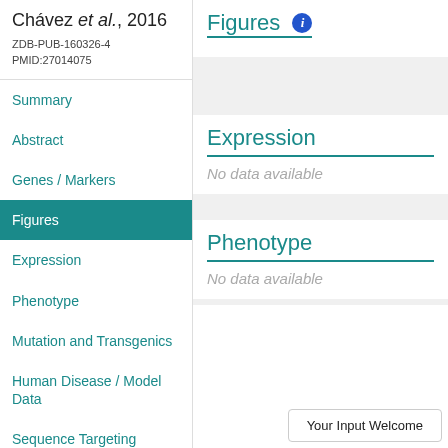Chávez et al., 2016
ZDB-PUB-160326-4
PMID:27014075
Summary
Abstract
Genes / Markers
Figures
Expression
Phenotype
Mutation and Transgenics
Human Disease / Model Data
Sequence Targeting Reagents
Figures
Expression
No data available
Phenotype
No data available
Your Input Welcome